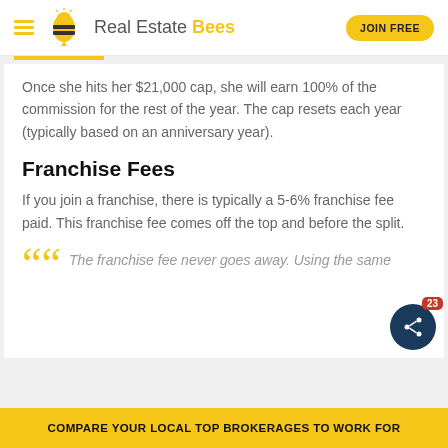Real Estate Bees
Once she hits her $21,000 cap, she will earn 100% of the commission for the rest of the year. The cap resets each year (typically based on an anniversary year).
Franchise Fees
If you join a franchise, there is typically a 5-6% franchise fee paid. This franchise fee comes off the top and before the split.
The franchise fee never goes away. Using the same
COMPARE YOUR LOCAL TOP BROKERAGES TO WORK FOR